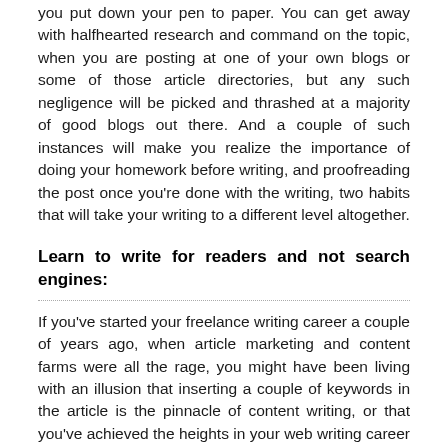you put down your pen to paper. You can get away with halfhearted research and command on the topic, when you are posting at one of your own blogs or some of those article directories, but any such negligence will be picked and thrashed at a majority of good blogs out there. And a couple of such instances will make you realize the importance of doing your homework before writing, and proofreading the post once you're done with the writing, two habits that will take your writing to a different level altogether.
Learn to write for readers and not search engines:
If you've started your freelance writing career a couple of years ago, when article marketing and content farms were all the rage, you might have been living with an illusion that inserting a couple of keywords in the article is the pinnacle of content writing, or that you've achieved the heights in your web writing career if your articles have made it into the